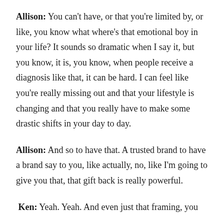Allison: You can't have, or that you're limited by, or like, you know what where's that emotional boy in your life? It sounds so dramatic when I say it, but you know, it is, you know, when people receive a diagnosis like that, it can be hard. I can feel like you're really missing out and that your lifestyle is changing and that you really have to make some drastic shifts in your day to day.
Allison: And so to have that. A trusted brand to have a brand say to you, like actually, no, like I'm going to give you that, that gift back is really powerful.
Ken: Yeah. Yeah. And even just that framing, you